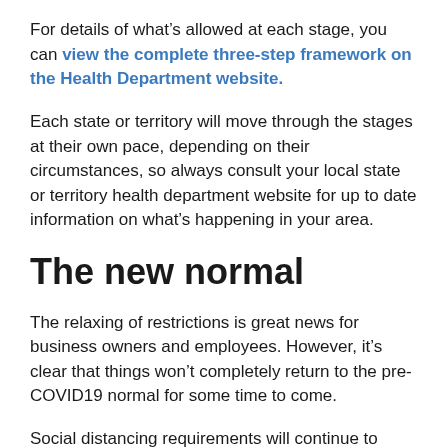For details of what's allowed at each stage, you can view the complete three-step framework on the Health Department website.
Each state or territory will move through the stages at their own pace, depending on their circumstances, so always consult your local state or territory health department website for up to date information on what's happening in your area.
The new normal
The relaxing of restrictions is great news for business owners and employees. However, it's clear that things won't completely return to the pre-COVID19 normal for some time to come.
Social distancing requirements will continue to have an impact on many businesses, particularly those in retail and hospitality, while gatherings...